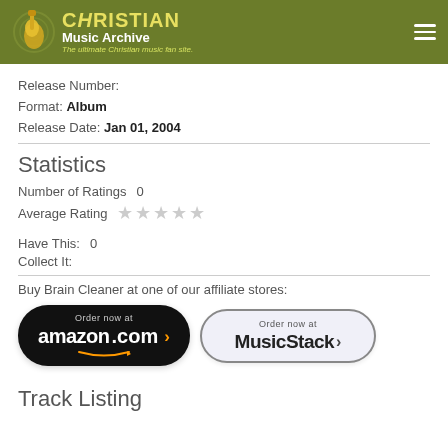Christian Music Archive — The ultimate Christian music fan site.
Release Number:
Format: Album
Release Date: Jan 01, 2004
Statistics
Number of Ratings   0
Average Rating   ★★★★★
Have This:   0
Collect It:
Buy Brain Cleaner at one of our affiliate stores:
[Figure (screenshot): Order now at amazon.com button (black rounded rectangle with orange smile arrow)]
[Figure (screenshot): Order now at MusicStack button (light rounded rectangle with dark border)]
Track Listing